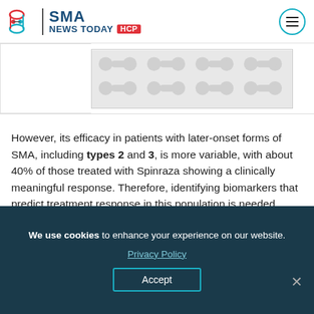SMA NEWS TODAY HCP
[Figure (illustration): Partial banner image area with DNA/molecule pattern on light gray background]
However, its efficacy in patients with later-onset forms of SMA, including types 2 and 3, is more variable, with about 40% of those treated with Spinraza showing a clinically meaningful response. Therefore, identifying biomarkers that predict treatment response in this population is needed.
We use cookies to enhance your experience on our website. Privacy Policy Accept